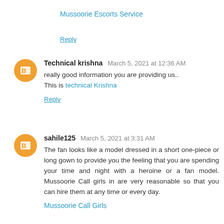Mussoorie Escorts Service
Reply
Technical krishna  March 5, 2021 at 12:36 AM
really good information you are providing us.. This is technical Krishna
Reply
sahile125  March 5, 2021 at 3:31 AM
The fan looks like a model dressed in a short one-piece or long gown to provide you the feeling that you are spending your time and night with a heroine or a fan model. Mussoorie Call girls in are very reasonable so that you can hire them at any time or every day.
Mussoorie Call Girls